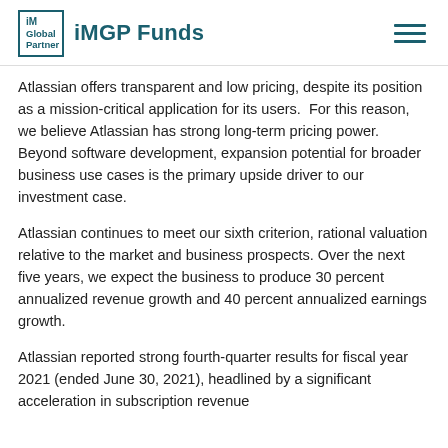iM Global Partner | iMGP Funds
Atlassian offers transparent and low pricing, despite its position as a mission-critical application for its users. For this reason, we believe Atlassian has strong long-term pricing power. Beyond software development, expansion potential for broader business use cases is the primary upside driver to our investment case.
Atlassian continues to meet our sixth criterion, rational valuation relative to the market and business prospects. Over the next five years, we expect the business to produce 30 percent annualized revenue growth and 40 percent annualized earnings growth.
Atlassian reported strong fourth-quarter results for fiscal year 2021 (ended June 30, 2021), headlined by a significant acceleration in subscription revenue